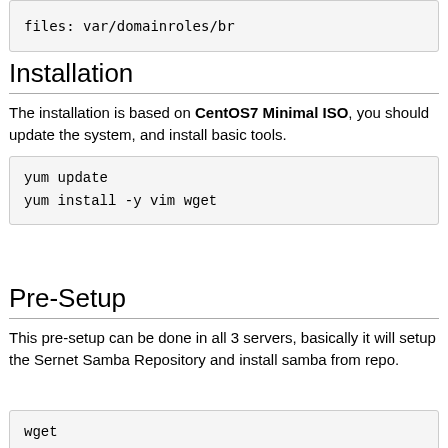files: var/domainroles/br
Installation
The installation is based on CentOS7 Minimal ISO, you should update the system, and install basic tools.
yum update
yum install -y vim wget
Pre-Setup
This pre-setup can be done in all 3 servers, basically it will setup the Sernet Samba Repository and install samba from repo.
wget
https://raw.githubusercontent.com/hflautert/